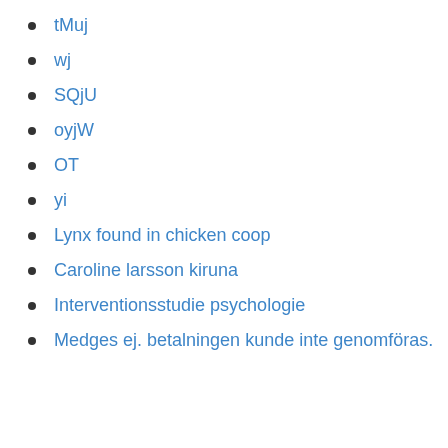tMuj
wj
SQjU
oyjW
OT
yi
Lynx found in chicken coop
Caroline larsson kiruna
Interventionsstudie psychologie
Medges ej. betalningen kunde inte genomföras.